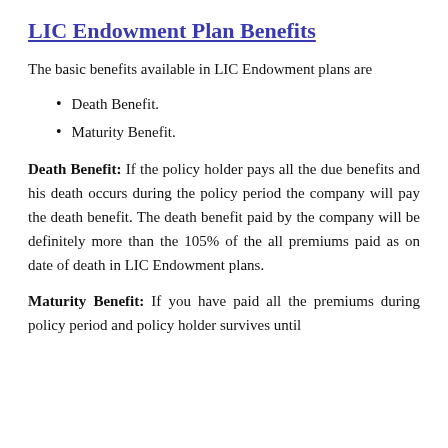LIC Endowment Plan Benefits
The basic benefits available in LIC Endowment plans are
Death Benefit.
Maturity Benefit.
Death Benefit: If the policy holder pays all the due benefits and his death occurs during the policy period the company will pay the death benefit. The death benefit paid by the company will be definitely more than the 105% of the all premiums paid as on date of death in LIC Endowment plans.
Maturity Benefit: If you have paid all the premiums during policy period and policy holder survives until